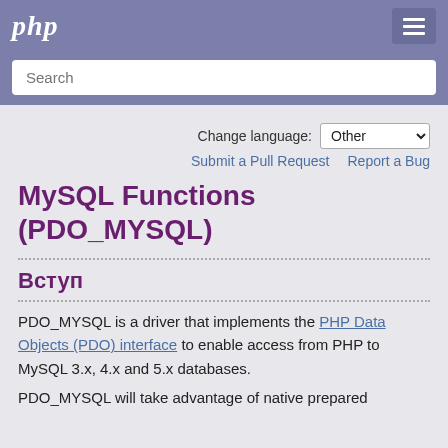php
Search
Change language: Other
Submit a Pull Request   Report a Bug
MySQL Functions (PDO_MYSQL)
Вступ
PDO_MYSQL is a driver that implements the PHP Data Objects (PDO) interface to enable access from PHP to MySQL 3.x, 4.x and 5.x databases.
PDO_MYSQL will take advantage of native prepared